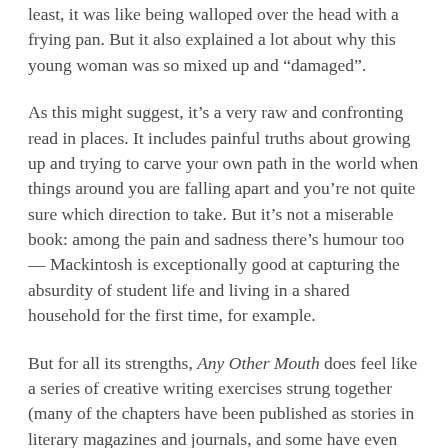least, it was like being walloped over the head with a frying pan. But it also explained a lot about why this young woman was so mixed up and “damaged”.
As this might suggest, it’s a very raw and confronting read in places. It includes painful truths about growing up and trying to carve your own path in the world when things around you are falling apart and you’re not quite sure which direction to take. But it’s not a miserable book: among the pain and sadness there’s humour too — Mackintosh is exceptionally good at capturing the absurdity of student life and living in a shared household for the first time, for example.
But for all its strengths, Any Other Mouth does feel like a series of creative writing exercises strung together (many of the chapters have been published as stories in literary magazines and journals, and some have even won prizes), so